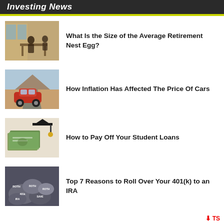Investing News
What Is the Size of the Average Retirement Nest Egg?
How Inflation Has Affected The Price Of Cars
How to Pay Off Your Student Loans
Top 7 Reasons to Roll Over Your 401(k) to an IRA
TS